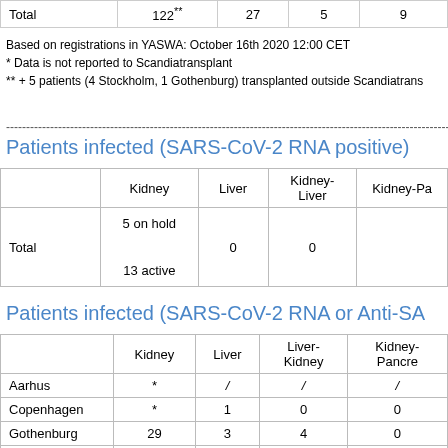|  | Kidney | Liver | Kidney-Liver | Kidney-Pa... |
| --- | --- | --- | --- | --- |
| Total | 122** | 27 | 5 | 9 |
Based on registrations in YASWA: October 16th 2020 12:00 CET
* Data is not reported to Scandiatransplant
** + 5 patients (4 Stockholm, 1 Gothenburg) transplanted outside Scandiatrans...
Patients infected (SARS-CoV-2 RNA positive)
|  | Kidney | Liver | Kidney-Liver | Kidney-Pa... |
| --- | --- | --- | --- | --- |
| Total | 5 on hold
13 active | 0 | 0 |  |
Patients infected (SARS-CoV-2 RNA or Anti-SA...
|  | Kidney | Liver | Liver-Kidney | Kidney-Pancre... |
| --- | --- | --- | --- | --- |
| Aarhus | * | / | / | / |
| Copenhagen | * | 1 | 0 | 0 |
| Gothenburg | 29 | 3 | 4 | 0 |
| Helsinki | 2 | 1 | 0 | 1 |